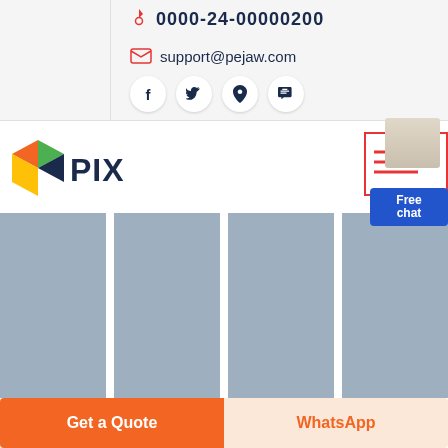support@pejaw.com
[Figure (logo): Pixpa logo with colorful P icon and PIX text]
[Figure (infographic): Free chat widget with person and blue button]
[Figure (photo): Four placeholder gray image columns]
Get a Quote
WhatsApp